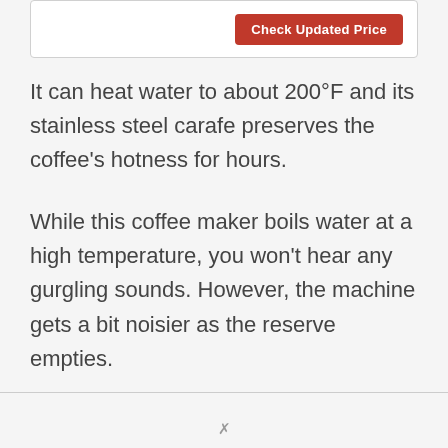[Figure (other): Button labeled 'Check Updated Price' with red background, inside a white bordered box at the top of the page]
It can heat water to about 200°F and its stainless steel carafe preserves the coffee's hotness for hours.
While this coffee maker boils water at a high temperature, you won't hear any gurgling sounds. However, the machine gets a bit noisier as the reserve empties.